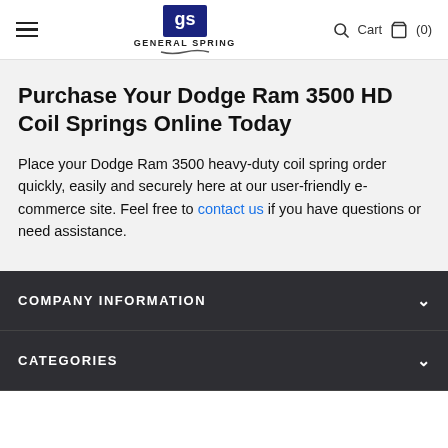General Spring — Navigation header with hamburger menu, logo, search and cart icons
Purchase Your Dodge Ram 3500 HD Coil Springs Online Today
Place your Dodge Ram 3500 heavy-duty coil spring order quickly, easily and securely here at our user-friendly e-commerce site. Feel free to contact us if you have questions or need assistance.
COMPANY INFORMATION
CATEGORIES